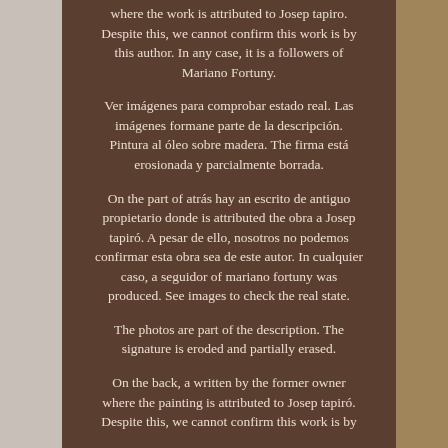where the work is attributed to Josep Tapiro. Despite this, we cannot confirm this work is by this author. In any case, it is a followers of Mariano Fortuny.
Ver imágenes para comprobar estado real. Las imágenes formane parte de la descripción. Pintura al óleo sobre madera. The firma está erosionada y parcialmente borrada.
On the part of atrás hay an escrito de antiguo propietario donde is attributed the obra a Josep tapiró. A pesar de ello, nosotros no podemos confirmar esta obra sea de este autor. In cualquier caso, a seguidor of mariano fortuny was produced. See images to check the real state.
The photos are part of the description. The signature is eroded and partially erased.
On the back, a written by the former owner where the painting is attributed to Josep tapiró. Despite this, we cannot confirm this work is by